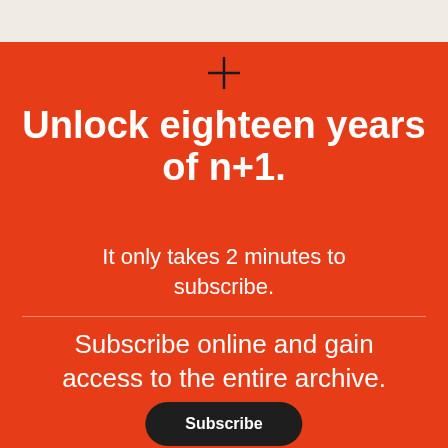Unlock eighteen years of n+1.
It only takes 2 minutes to subscribe.
Subscribe online and gain access to the entire archive.
Subscribe